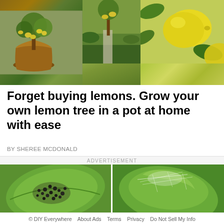[Figure (photo): Three photos of lemon trees: left shows lemons growing in a large brown clay pot, middle shows a garden with a lemon tree, right shows close-up of yellow lemons hanging on a tree branch]
Forget buying lemons. Grow your own lemon tree in a pot at home with ease
BY SHEREE MCDONALD
ADVERTISEMENT
[Figure (photo): Two photos: left shows black aphids/insects on a green leaf, right shows a curled green leaf with spider mites or webbing]
© DIY Everywhere   About Ads   Terms   Privacy   Do Not Sell My Info